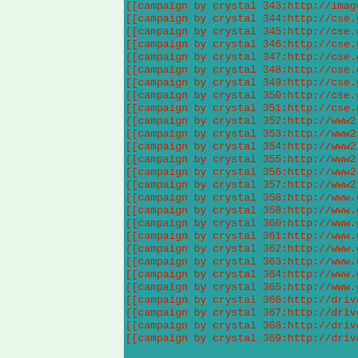[[campaign by crystal 343:http://images.google.
[[campaign by crystal 344:http://cse.google.at/
[[campaign by crystal 345:http://cse.google.bg/
[[campaign by crystal 346:http://cse.google.ch/
[[campaign by crystal 347:http://cse.google.cl/
[[campaign by crystal 348:http://cse.google.com
[[campaign by crystal 349:http://cse.google.fi/
[[campaign by crystal 350:http://cse.google.co.
[[campaign by crystal 351:http://cse.google.com
[[campaign by crystal 352:http://www2.sandbox.g
[[campaign by crystal 353:http://www2.sandbox.g
[[campaign by crystal 354:http://www2.sandbox.g
[[campaign by crystal 355:http://www2.sandbox.g
[[campaign by crystal 356:http://www2.sandbox.g
[[campaign by crystal 357:http://www2.sandbox.g
[[campaign by crystal 358:http://www.google.at/
[[campaign by crystal 358:http://www.google.bg/
[[campaign by crystal 360:http://www.google.ch/
[[campaign by crystal 361:http://www.google.cl/
[[campaign by crystal 362:http://www.google.com
[[campaign by crystal 363:http://www.google.fi/
[[campaign by crystal 364:http://www.google.co.
[[campaign by crystal 365:http://www.google.com
[[campaign by crystal 366:http://drive.sandbox.
[[campaign by crystal 367:http://drive.sandbox.
[[campaign by crystal 368:http://drive.sandbox.
[[campaign by crystal 369:http://drive.sandbox.